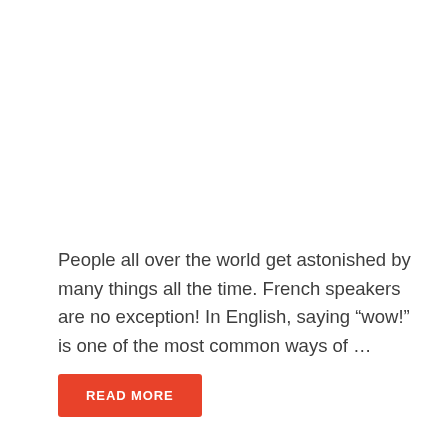People all over the world get astonished by many things all the time. French speakers are no exception! In English, saying “wow!” is one of the most common ways of …
READ MORE